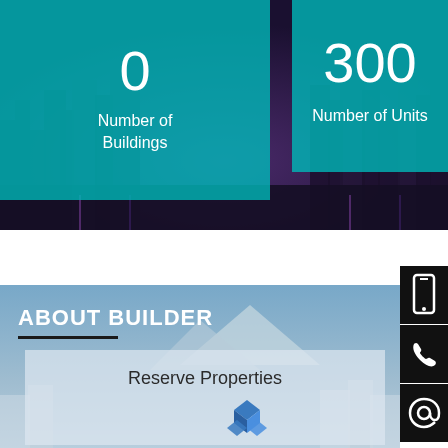[Figure (screenshot): Dark blurred city skyline at night forming background of top section]
0
Number of Buildings
300
Number of Units
ABOUT BUILDER
Reserve Properties
[Figure (logo): Blue diamond/cube cluster logo for Reserve Properties]
[Figure (infographic): Mobile phone icon on black background]
[Figure (infographic): Phone handset icon on black background]
[Figure (infographic): At-sign email icon on black background]